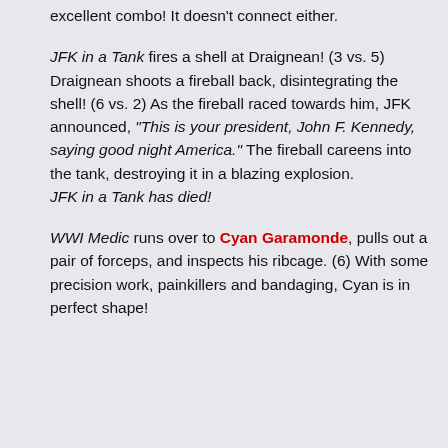excellent combo! It doesn't connect either.
JFK in a Tank fires a shell at Draignean! (3 vs. 5) Draignean shoots a fireball back, disintegrating the shell! (6 vs. 2) As the fireball raced towards him, JFK announced, "This is your president, John F. Kennedy, saying good night America." The fireball careens into the tank, destroying it in a blazing explosion.
JFK in a Tank has died!
WWI Medic runs over to Cyan Garamonde, pulls out a pair of forceps, and inspects his ribcage. (6) With some precision work, painkillers and bandaging, Cyan is in perfect shape!